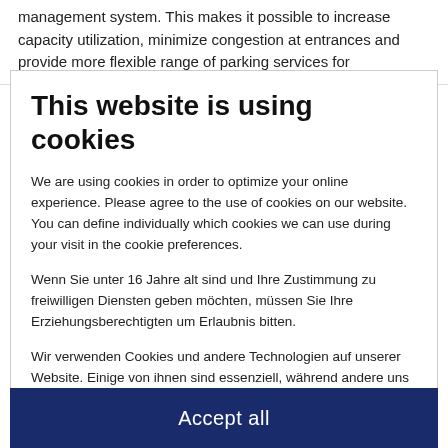management system. This makes it possible to increase capacity utilization, minimize congestion at entrances and provide more flexible range of parking services for
This website is using cookies
We are using cookies in order to optimize your online experience. Please agree to the use of cookies on our website. You can define individually which cookies we can use during your visit in the cookie preferences.
Wenn Sie unter 16 Jahre alt sind und Ihre Zustimmung zu freiwilligen Diensten geben möchten, müssen Sie Ihre Erziehungsberechtigten um Erlaubnis bitten.
Wir verwenden Cookies und andere Technologien auf unserer Website. Einige von ihnen sind essenziell, während andere uns helfen, diese Website und Ihre Erfahrung zu verbessern.
Essenziell
Statistiken
Externe Medien
Accept all